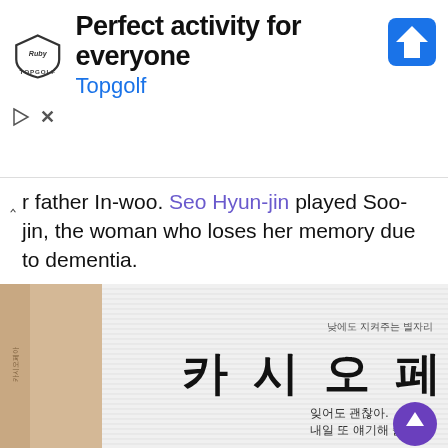[Figure (screenshot): Topgolf advertisement banner with logo, title 'Perfect activity for everyone', subtitle 'Topgolf', a blue navigation badge icon on the right, and ad controls (play/close) on the left below.]
r father In-woo. Seo Hyun-jin played Soo-jin, the woman who loses her memory due to dementia.
[Figure (photo): Book cover image showing Korean text '카 시 오 페 아' (Cassiopeia) in large bold font on a white/light background with horizontal blinds visible. Subtitle text reads '낮에도 지켜주는 별자리' above the main title, and below reads '잊어도 괜찮아. 내일 또 얘기해 줄게.' A book spine is visible on the left side.]